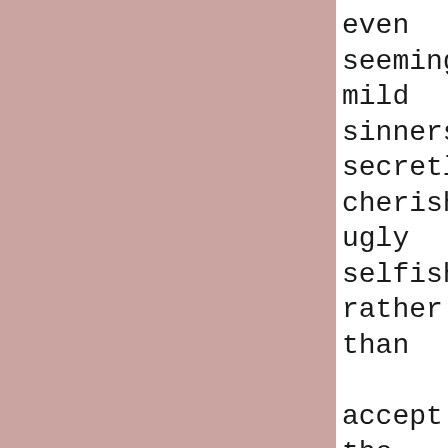even seemingly mild sinners secretly cherished ugly selfishness rather than accept the value system